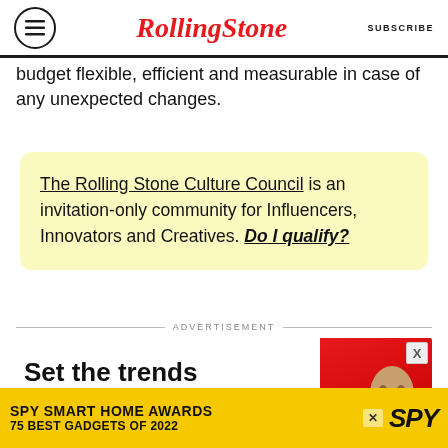RollingStone | SUBSCRIBE
budget flexible, efficient and measurable in case of any unexpected changes.
The Rolling Stone Culture Council is an invitation-only community for Influencers, Innovators and Creatives. Do I qualify?
ADVERTISEMENT
[Figure (infographic): Advertisement showing bold text 'Set the trends of a nation.' alongside a photo of a person on a red background]
[Figure (infographic): SPY Smart Home Awards banner: '75 Best Gadgets of 2022' on yellow background with SPY logo]